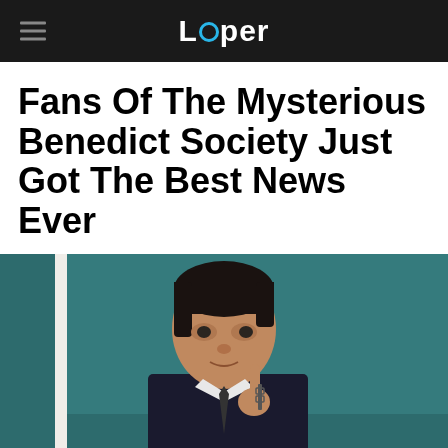Looper
Fans Of The Mysterious Benedict Society Just Got The Best News Ever
[Figure (photo): A man with dark hair in a suit, looking sideways with one finger raised, against a teal/dark background — appears to be a still from The Mysterious Benedict Society TV show.]